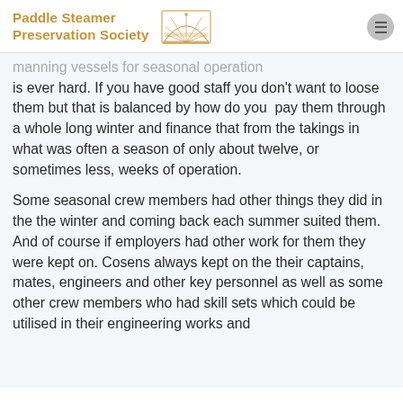Paddle Steamer Preservation Society
manning vessels for seasonal operation is ever hard. If you have good staff you don't want to loose them but that is balanced by how do you pay them through a whole long winter and finance that from the takings in what was often a season of only about twelve, or sometimes less, weeks of operation.
Some seasonal crew members had other things they did in the the winter and coming back each summer suited them. And of course if employers had other work for them they were kept on. Cosens always kept on the their captains, mates, engineers and other key personnel as well as some other crew members who had skill sets which could be utilised in their engineering works and